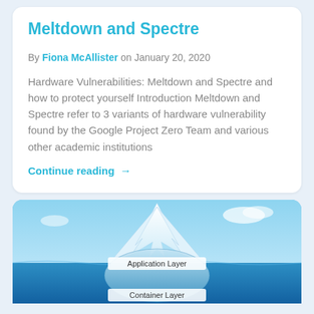Meltdown and Spectre
By Fiona McAllister on January 20, 2020
Hardware Vulnerabilities: Meltdown and Spectre and how to protect yourself Introduction Meltdown and Spectre refer to 3 variants of hardware vulnerability found by the Google Project Zero Team and various other academic institutions
Continue reading →
[Figure (illustration): Iceberg diagram showing Application Layer above water and Container Layer below water, with a blue sky and ocean background.]